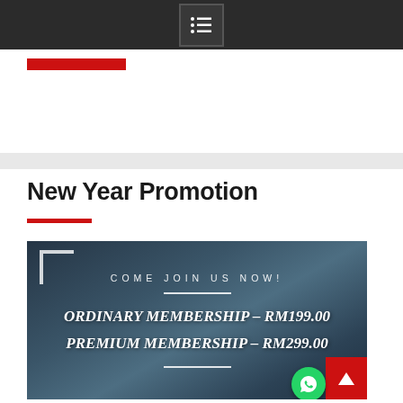Navigation menu icon
New Year Promotion
[Figure (infographic): Dark blue-grey background promotional banner with text: COME JOIN US NOW!, ORDINARY MEMBERSHIP - RM199.00, PREMIUM MEMBERSHIP - RM299.00, with decorative divider lines and a corner bracket element]